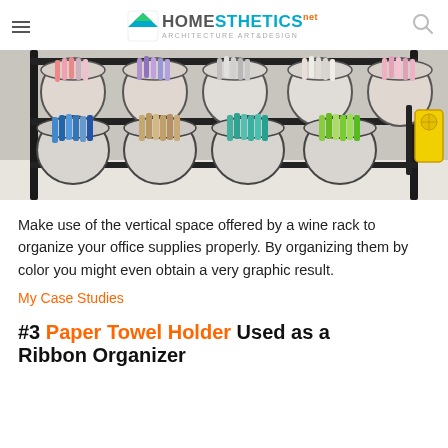HOMESTHETICS ARCHITECTURE ART&DESIGN
[Figure (photo): A wine rack organizer holding multiple clear cups/glasses filled with colorful markers organized by color (blue, grey/brown, teal/green, bright green), with a yellow tool visible on the right side.]
Make use of the vertical space offered by a wine rack to organize your office supplies properly. By organizing them by color you might even obtain a very graphic result.
My Case Studies
#3 Paper Towel Holder Used as a Ribbon Organizer